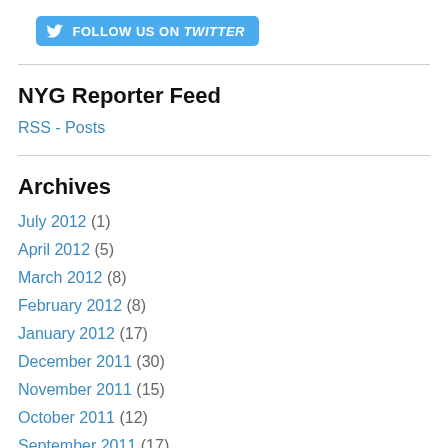[Figure (logo): Follow us on Twitter button, blue rounded rectangle with bird icon and text FOLLOW US ON twitter]
NYG Reporter Feed
RSS - Posts
Archives
July 2012 (1)
April 2012 (5)
March 2012 (8)
February 2012 (8)
January 2012 (17)
December 2011 (30)
November 2011 (15)
October 2011 (12)
September 2011 (17)
August 2011 (14)